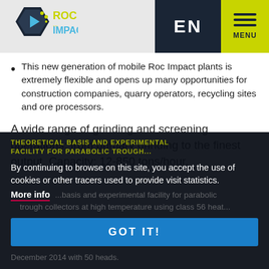ROC IMPACT | EN | MENU
This new generation of mobile Roc Impact plants is extremely flexible and opens up many opportunities for construction companies, quarry operators, recycling sites and ore processors.
A wide range of grinding and screening operations: from primary grinding to the finest output. Capacity: 12-850 tons/hour.
THEORETICAL BASIS AND EXPERIMENTAL FACILITY FOR PARABOLIC TROUGH...
By continuing to browse on this site, you accept the use of cookies or other tracers used to provide visit statistics.
More info
...theoretical basis and experimental facility for parabolic trough collectors at high temperature using class 56 heat...
GOT IT!
December 2014 with 50 heads.